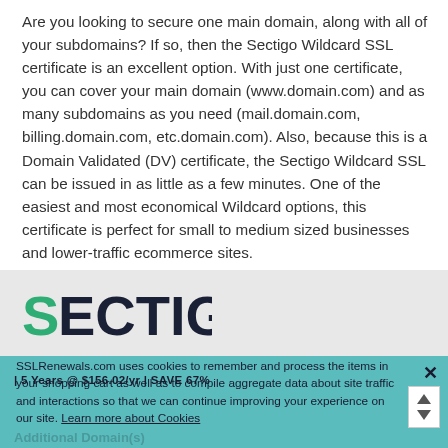Are you looking to secure one main domain, along with all of your subdomains? If so, then the Sectigo Wildcard SSL certificate is an excellent option. With just one certificate, you can cover your main domain (www.domain.com) and as many subdomains as you need (mail.domain.com, billing.domain.com, etc.domain.com). Also, because this is a Domain Validated (DV) certificate, the Sectigo Wildcard SSL can be issued in as little as a few minutes. One of the easiest and most economical Wildcard options, this certificate is perfect for small to medium sized businesses and lower-traffic ecommerce sites.
[Figure (logo): Sectigo logo with green S and dark blue ECTIGO text]
SSLRenewals.com uses cookies to remember and process the items in your shopping cart as well as to compile aggregate data about site traffic and interactions so that we can continue improving your experience on our site. Learn more about Cookies
| 5 Years @ $156.02/yr | SAVE 67%
Additional Domain(s)